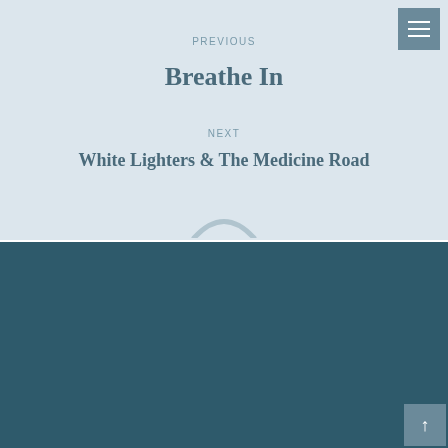PREVIOUS
Breathe In
NEXT
White Lighters & The Medicine Road
Copyright © 2022 AkashicReading.com. All Rights Reserved.
Privacy Policy
Customized by DesignerPassport.com